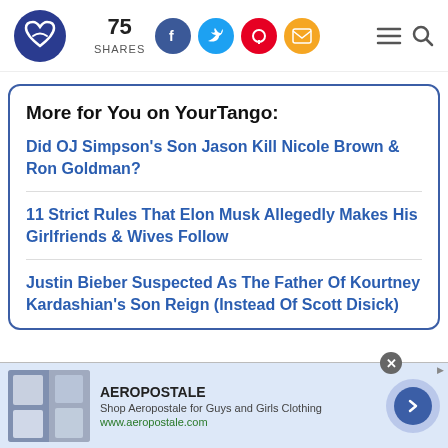[Figure (logo): YourTango logo — dark blue circle with heart/infinity symbol]
75 SHARES
[Figure (infographic): Social share buttons: Facebook (blue), Twitter (light blue), Pinterest (red), Email (yellow/orange)]
[Figure (infographic): Hamburger menu icon and search icon]
More for You on YourTango:
Did OJ Simpson's Son Jason Kill Nicole Brown & Ron Goldman?
11 Strict Rules That Elon Musk Allegedly Makes His Girlfriends & Wives Follow
Justin Bieber Suspected As The Father Of Kourtney Kardashian's Son Reign (Instead Of Scott Disick)
[Figure (screenshot): Aeropostale advertisement banner with clothing images, brand name AEROPOSTALE, tagline 'Shop Aeropostale for Guys and Girls Clothing', URL www.aeropostale.com, and a navigation arrow]